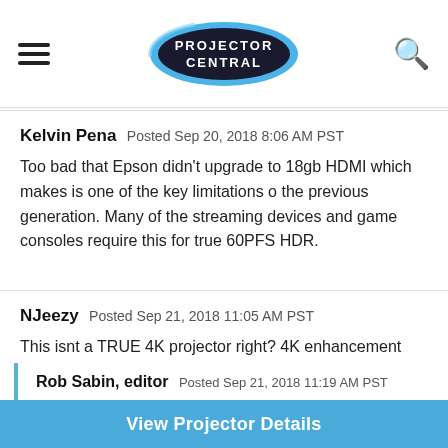Projector Central
Kelvin Pena  Posted Sep 20, 2018 8:06 AM PST

Too bad that Epson didn't upgrade to 18gb HDMI which makes is one of the key limitations o the previous generation. Many of the streaming devices and game consoles require this for true 60PFS HDR.
NJeezy  Posted Sep 21, 2018 11:05 AM PST

This isnt a TRUE 4K projector right? 4K enhancement only?
Rob Sabin, editor  Posted Sep 21, 2018 11:19 AM PST

As noted, not 4K native but a 1080p pixel-shifter, which
View Projector Details